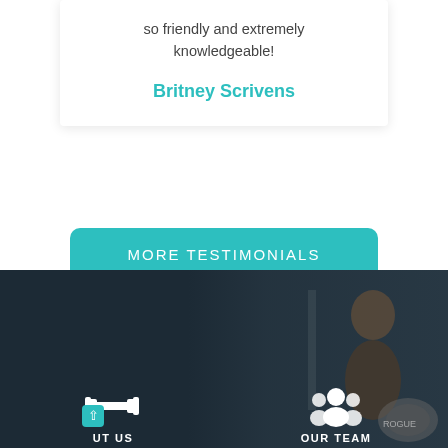so friendly and extremely knowledgeable!
Britney Scrivens
MORE TESTIMONIALS
[Figure (photo): Dark gym/fitness background with a person sitting near weight equipment, used as section background for About Us and Our Team navigation icons]
ABOUT US
OUR TEAM